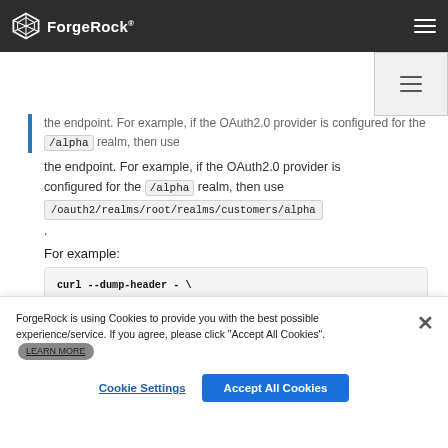ForgeRock
the endpoint. For example, if the OAuth2.0 provider is configured for the /alpha realm, then use /oauth2/realms/root/realms/customers/alpha .
For example:
curl --dump-header - \
  --Cookie
  "iPlanetDirectoryPro=AQIC5wM...TU3OQ*"
  \
  --request POST \
  --data "client_id=myClient" \
  --data "response_type=token" \
  --data "scope=write" \
ForgeRock is using Cookies to provide you with the best possible experience/service. If you agree, please click "Accept All Cookies". Cookie Settings Accept All Cookies